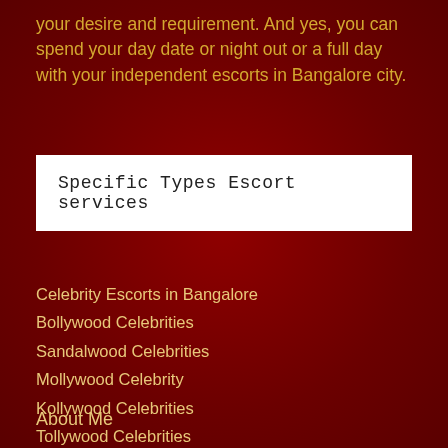your desire and requirement. And yes, you can spend your day date or night out or a full day with your independent escorts in Bangalore city.
Specific Types Escort services
Celebrity Escorts in Bangalore
Bollywood Celebrities
Sandalwood Celebrities
Mollywood Celebrity
Kollywood Celebrities
Tollywood Celebrities
About Me